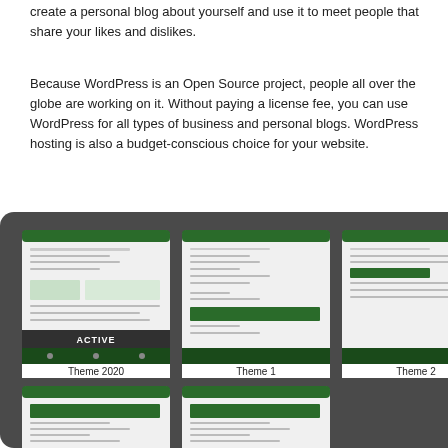create a personal blog about yourself and use it to meet people that share your likes and dislikes.
Because WordPress is an Open Source project, people all over the globe are working on it. Without paying a license fee, you can use WordPress for all types of business and personal blogs. WordPress hosting is also a budget-conscious choice for your website.
[Figure (screenshot): A dark panel showing a WordPress theme selector with 5 themes: Theme 2020 (marked ACTIVE), Theme 1, Theme 2, Theme 3, Theme 4, and a 'Change Theme' button on the right side. Views: 38 is shown, along with a green circle and two entries showing (15) counts.]
Android Basic    ( 15 )
PHP Setup    ( 15 )